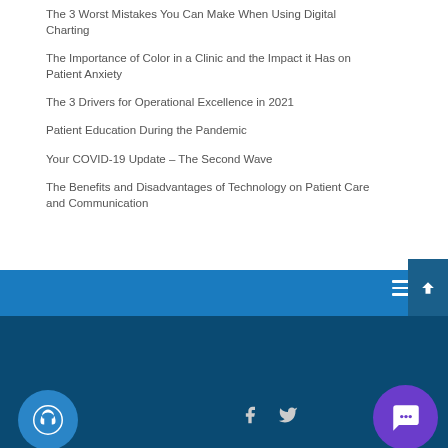The 3 Worst Mistakes You Can Make When Using Digital Charting
The Importance of Color in a Clinic and the Impact it Has on Patient Anxiety
The 3 Drivers for Operational Excellence in 2021
Patient Education During the Pandemic
Your COVID-19 Update – The Second Wave
The Benefits and Disadvantages of Technology on Patient Care and Communication
© 2022 MaxiDent Practice Management Software | All Rights Reserved